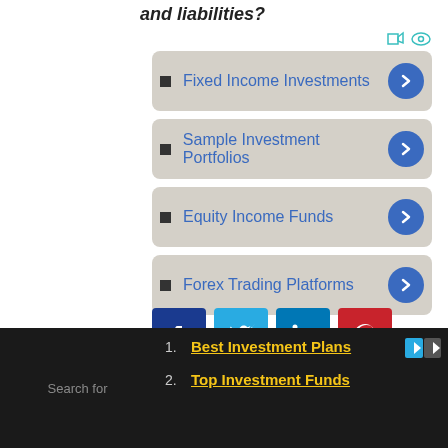and liabilities?
Fixed Income Investments
Sample Investment Portfolios
Equity Income Funds
Forex Trading Platforms
[Figure (infographic): Social sharing buttons: Facebook, Twitter, LinkedIn, Pinterest]
1. Best Investment Plans
2. Top Investment Funds
Search for